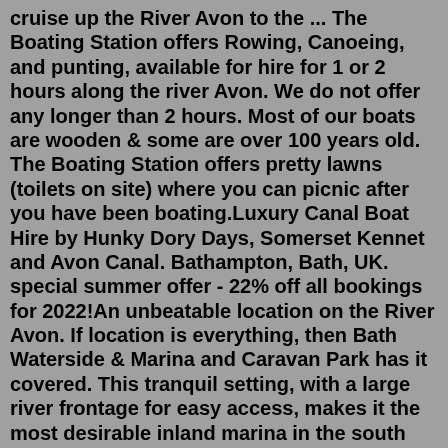cruise up the River Avon to the ... The Boating Station offers Rowing, Canoeing, and punting, available for hire for 1 or 2 hours along the river Avon. We do not offer any longer than 2 hours. Most of our boats are wooden & some are over 100 years old. The Boating Station offers pretty lawns (toilets on site) where you can picnic after you have been boating.Luxury Canal Boat Hire by Hunky Dory Days, Somerset Kennet and Avon Canal. Bathampton, Bath, UK. special summer offer - 22% off all bookings for 2022!An unbeatable location on the River Avon. If location is everything, then Bath Waterside & Marina and Caravan Park has it covered. This tranquil setting, with a large river frontage for easy access, makes it the most desirable inland marina in the south west with a spectacular location on the River Avon in Somerset, and less than two miles from the centre of Bath and on the edge of the Cotswolds. configure iis windows server 2019 Enjoy all that's best in canal holiday cruising. Our quality interiors provide